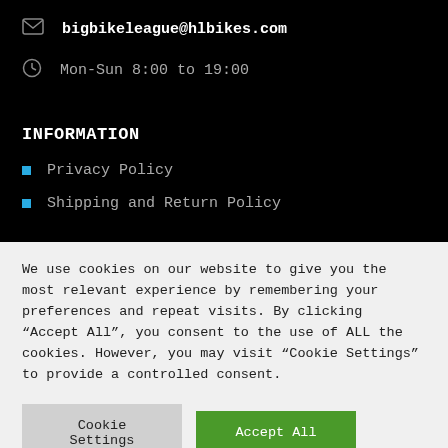bigbikeleague@hlbikes.com
Mon-Sun 8:00 to 19:00
INFORMATION
Privacy Policy
Shipping and Return Policy
We use cookies on our website to give you the most relevant experience by remembering your preferences and repeat visits. By clicking “Accept All”, you consent to the use of ALL the cookies. However, you may visit “Cookie Settings” to provide a controlled consent.
Cookie Settings | Accept All